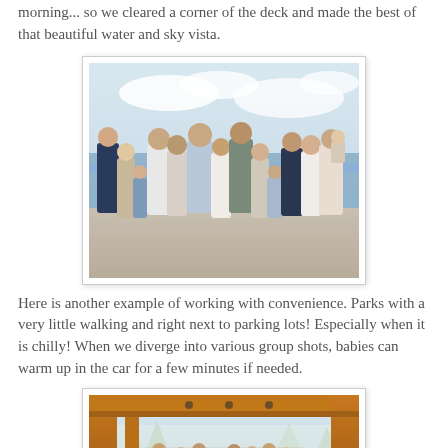morning... so we cleared a corner of the deck and made the best of that beautiful water and sky vista.
[Figure (photo): Large family group photo taken on a cruise ship deck with water and sky in the background. About 15 people of various ages dressed in white, blue and neutral tones.]
Here is another example of working with convenience. Parks with a very little walking and right next to parking lots! Especially when it is chilly! When we diverge into various group shots, babies can warm up in the car for a few minutes if needed.
[Figure (photo): Family group photo taken under a wooden pavilion/shelter at a park in winter, with snowy trees visible in the background.]